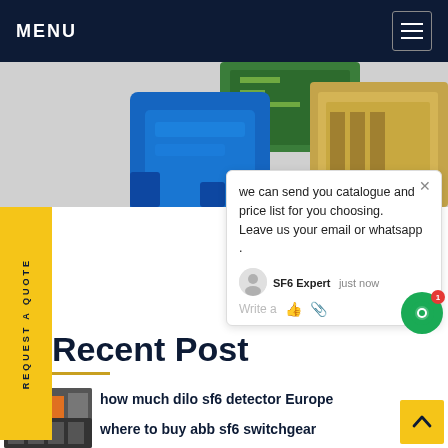MENU
[Figure (photo): Blue and gold industrial SF6 electrical component/device on a circuit board, partially visible from top of frame]
REQUEST A QUOTE
we can send you catalogue and price list for you choosing.
Leave us your email or whatsapp .
SF6 Expert   just now
Write a
Recent Post
[Figure (photo): Industrial SF6 equipment / switchgear in a facility]
how much dilo sf6 detector Europe
[Figure (photo): Industrial SF6 ABB switchgear equipment]
where to buy abb sf6 switchgear